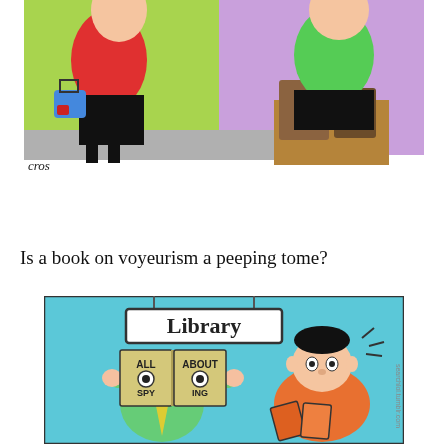[Figure (illustration): Top portion of a color cartoon showing two figures: on the left a person in a red top and black skirt holding a blue handbag, on the right a person in a green top sitting. Green and purple background. Artist signature 'cros' visible at bottom left.]
Is a book on voyeurism a peeping tome?
[Figure (illustration): Color cartoon set in a Library (sign hanging from chains above). On the left, a figure in green shirt and yellow tie holds up an open book with 'ALL ABOUT SPY ING' on the pages, with peepholes cut through for eyes. On the right, a man in an orange shirt reads a book with a surprised/concerned expression. Blue background. Watermark 'searchlol.tumblr.com' on right side.]